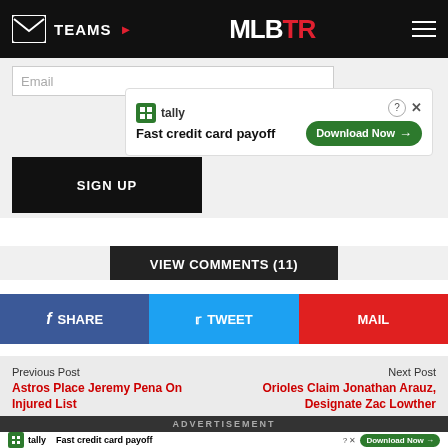TEAMS | MLBTR
[Figure (screenshot): Email input field and advertisement banner for Tally - Fast credit card payoff with Download Now button]
SIGN UP
VIEW COMMENTS (11)
SHARE | TWEET | MAIL
Previous Post
Astros Place Jeremy Pena On Injured List
Next Post
Orioles Claim Jonathan Arauz, Designate Zac Lowther
[Figure (photo): Photo strip of baseball players at bottom of page]
ADVERTISEMENT
[Figure (screenshot): Advertisement banner for Tally - Fast credit card payoff with Download Now button at bottom]